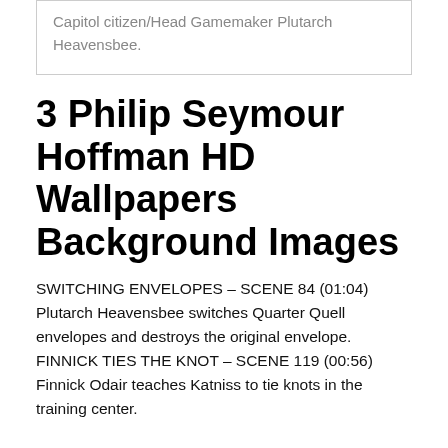Capitol citizen/Head Gamemaker Plutarch Heavensbee.
3 Philip Seymour Hoffman HD Wallpapers Background Images
SWITCHING ENVELOPES – SCENE 84 (01:04) Plutarch Heavensbee switches Quarter Quell envelopes and destroys the original envelope. FINNICK TIES THE KNOT – SCENE 119 (00:56) Finnick Odair teaches Katniss to tie knots in the training center.